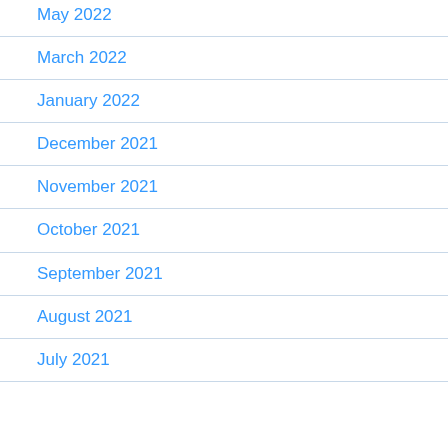May 2022
March 2022
January 2022
December 2021
November 2021
October 2021
September 2021
August 2021
July 2021